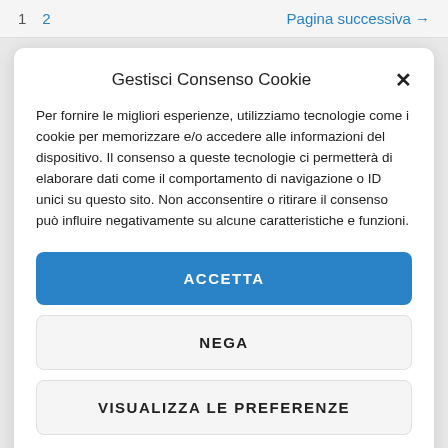1  2    Pagina successiva →
Gestisci Consenso Cookie
Per fornire le migliori esperienze, utilizziamo tecnologie come i cookie per memorizzare e/o accedere alle informazioni del dispositivo. Il consenso a queste tecnologie ci permetterà di elaborare dati come il comportamento di navigazione o ID unici su questo sito. Non acconsentire o ritirare il consenso può influire negativamente su alcune caratteristiche e funzioni.
ACCETTA
NEGA
VISUALIZZA LE PREFERENZE
Cookie Policy